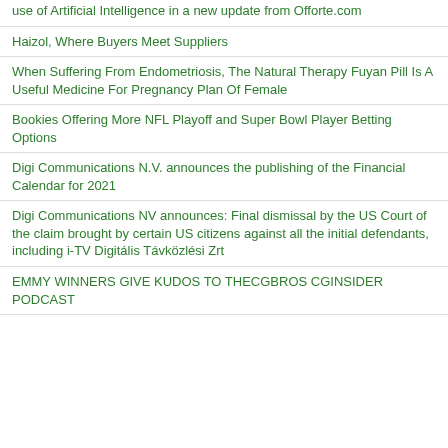use of Artificial Intelligence in a new update from Offorte.com
Haizol, Where Buyers Meet Suppliers
When Suffering From Endometriosis, The Natural Therapy Fuyan Pill Is A Useful Medicine For Pregnancy Plan Of Female
Bookies Offering More NFL Playoff and Super Bowl Player Betting Options
Digi Communications N.V. announces the publishing of the Financial Calendar for 2021
Digi Communications NV announces: Final dismissal by the US Court of the claim brought by certain US citizens against all the initial defendants, including i-TV Digitális Távközlési Zrt
EMMY WINNERS GIVE KUDOS TO THECGBROS CGINSIDER PODCAST